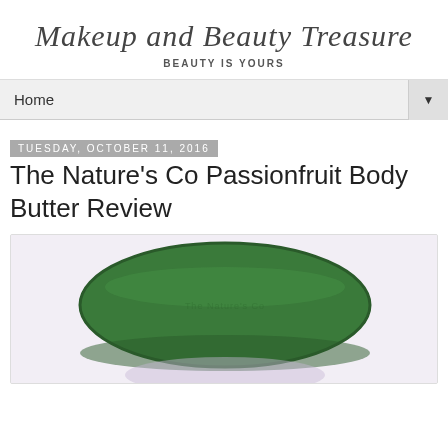Makeup and Beauty Treasure
Beauty Is Yours
Home
Tuesday, October 11, 2016
The Nature's Co Passionfruit Body Butter Review
[Figure (photo): Green circular jar lid of The Nature's Co Passionfruit Body Butter product, photographed from above against a light lavender/white background]